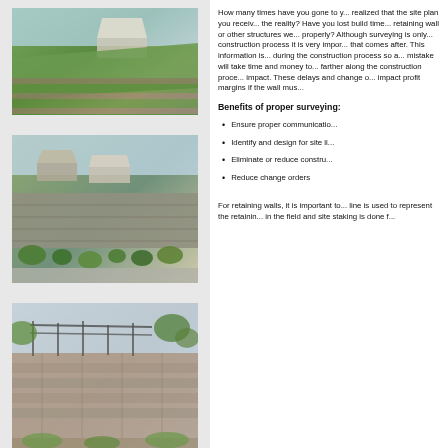[Figure (photo): Terraced retaining wall landscaping with a house on a hillside]
[Figure (photo): Large retaining wall with landscaping in front of houses on a slope]
[Figure (photo): Stone retaining wall with metal railing and vegetation]
How many times have you gone to y... realized that the site plan you receiv... the reality? Have you lost build time... retaining wall or other structures we... properly? Although surveying is only... construction process it is very impor... that comes after. This information is... during the construction process so a... mistake will take time and money to... farther along the construction proce... impact. These delays and change o... impact profit margins if the wall mus...
Benefits of proper surveying:
Ensure proper communicatio...
Identify and design for site li...
Eliminate or reduce constru...
Reduce change orders
For retaining walls, it is important to... line is used to represent the retainin... in the field and site staking is done f...